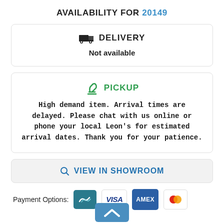AVAILABILITY FOR 20149
DELIVERY
Not available
PICKUP
High demand item. Arrival times are delayed. Please chat with us online or phone your local Leon's for estimated arrival dates. Thank you for your patience.
VIEW IN SHOWROOM
Payment Options: